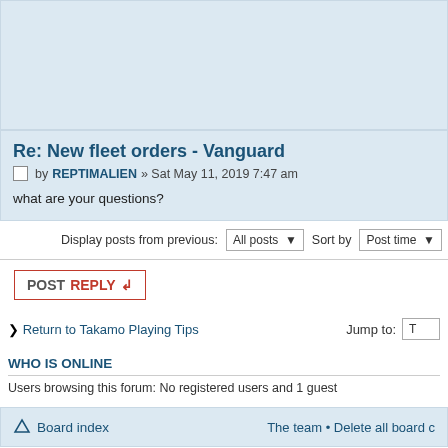Re: New fleet orders - Vanguard
by REPTIMALIEN » Sat May 11, 2019 7:47 am
what are your questions?
Display posts from previous: All posts Sort by Post time
POST REPLY
Return to Takamo Playing Tips
Jump to:
WHO IS ONLINE
Users browsing this forum: No registered users and 1 guest
Board index
The team • Delete all board c
Powered by phpBB® Forum Software © phpBB Gr